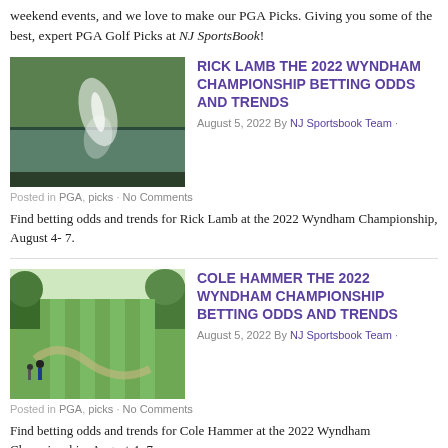weekend events, and we love to make our PGA Picks. Giving you some of the best, expert PGA Golf Picks at NJ SportsBook!
[Figure (photo): Golf ball splash near water hazard on a golf course, reflected in the water]
RICK LAMB THE 2022 WYNDHAM CHAMPIONSHIP BETTING ODDS AND TRENDS
August 5, 2022 By NJ Sportsbook Team ·
Posted in PGA, picks · No Comments
Find betting odds and trends for Rick Lamb at the 2022 Wyndham Championship, August 4- 7.
[Figure (photo): Aerial view of golfers on a green golf course with trees and fairways]
COLE HAMMER THE 2022 WYNDHAM CHAMPIONSHIP BETTING ODDS AND TRENDS
August 5, 2022 By NJ Sportsbook Team ·
Posted in PGA, picks · No Comments
Find betting odds and trends for Cole Hammer at the 2022 Wyndham Championship, August 4- 7.